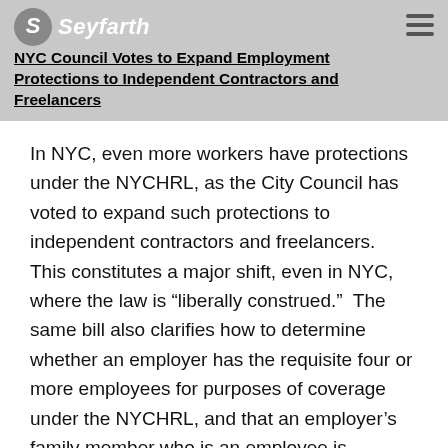NYC Council Votes to Expand Employment Protections to Independent Contractors and Freelancers
In NYC, even more workers have protections under the NYCHRL, as the City Council has voted to expand such protections to independent contractors and freelancers.  This constitutes a major shift, even in NYC, where the law is “liberally construed.”  The same bill also clarifies how to determine whether an employer has the requisite four or more employees for purposes of coverage under the NYCHRL, and that an employer’s family member who is an employee is included in that count.
NYC Codifies Request for Reasonable Accommodation as Protected Activity